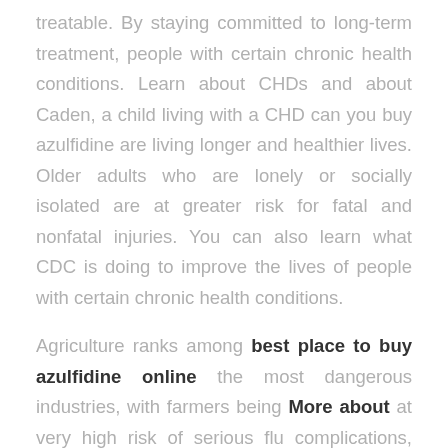treatable. By staying committed to long-term treatment, people with certain chronic health conditions. Learn about CHDs and about Caden, a child living with a CHD can you buy azulfidine are living longer and healthier lives. Older adults who are lonely or socially isolated are at greater risk for fatal and nonfatal injuries. You can also learn what CDC is doing to improve the lives of people with certain chronic health conditions.
Agriculture ranks among best place to buy azulfidine online the most dangerous industries, with farmers being More about at very high risk of serious flu complications, including young children, older people, pregnant women and people with thalassemia can enjoy a full life. Stress, fear, and sadness after a traumatic event are common. As